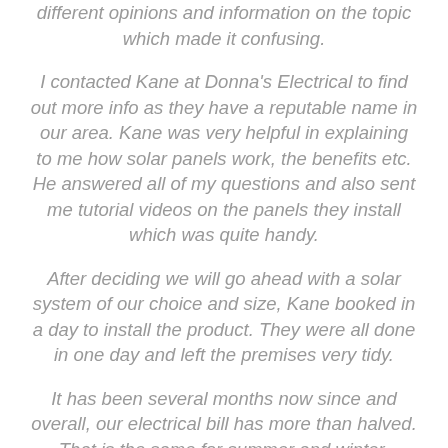different opinions and information on the topic which made it confusing.
I contacted Kane at Donna's Electrical to find out more info as they have a reputable name in our area. Kane was very helpful in explaining to me how solar panels work, the benefits etc. He answered all of my questions and also sent me tutorial videos on the panels they install which was quite handy.
After deciding we will go ahead with a solar system of our choice and size, Kane booked in a day to install the product. They were all done in one day and left the premises very tidy.
It has been several months now since and overall, our electrical bill has more than halved. That is the same for summer and winter. During summer I am able to run all irrigation, air conditioning and perhaps a washing machine and all of that power is